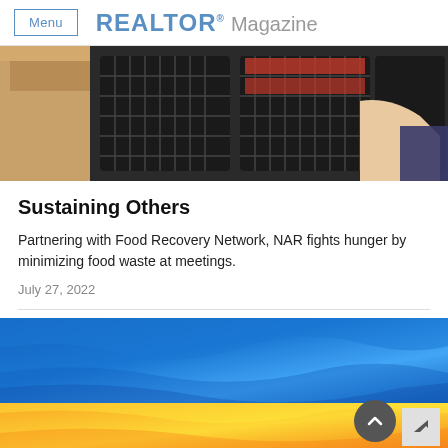Menu | REALTOR® Magazine
[Figure (photo): Person handling black plastic crates/bins at what appears to be a food bank or warehouse, with brown cardboard boxes on the left side]
Sustaining Others
Partnering with Food Recovery Network, NAR fights hunger by minimizing food waste at meetings.
July 27, 2022
[Figure (photo): Close-up of the Ukrainian flag with blue and yellow colors, fabric rippling in the wind]